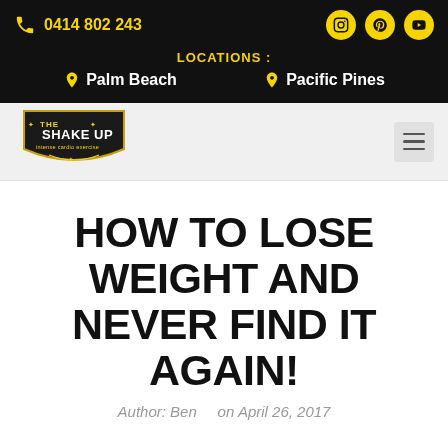0414 802 243
LOCATIONS : Palm Beach   Pacific Pines
[Figure (logo): The Shake Up logo — shield shape with black background, yellow text 'THE SHAKE UP', subtitle 'intense cardio exercise']
HOW TO LOSE WEIGHT AND NEVER FIND IT AGAIN!
Author: Ben    on April 26, 2017